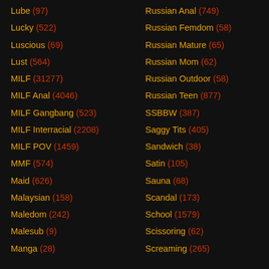Lube (97)
Lucky (522)
Luscious (69)
Lust (564)
MILF (31277)
MILF Anal (4046)
MILF Gangbang (523)
MILF Interracial (2208)
MILF POV (1459)
MMF (574)
Maid (626)
Malaysian (158)
Maledom (242)
Malesub (9)
Manga (28)
Russian Anal (749)
Russian Femdom (58)
Russian Mature (65)
Russian Mom (62)
Russian Outdoor (58)
Russian Teen (877)
SSBBW (387)
Saggy Tits (405)
Sandwich (38)
Satin (105)
Sauna (68)
Scandal (173)
School (1579)
Scissoring (62)
Screaming (265)